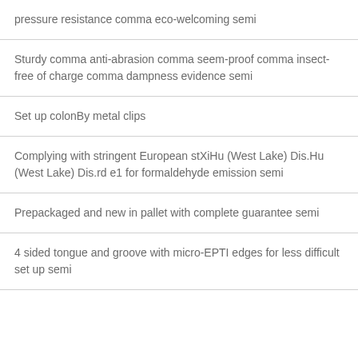pressure resistance comma eco-welcoming semi
Sturdy comma anti-abrasion comma seem-proof comma insect-free of charge comma dampness evidence semi
Set up colonBy metal clips
Complying with stringent European stXiHu (West Lake) Dis.Hu (West Lake) Dis.rd e1 for formaldehyde emission semi
Prepackaged and new in pallet with complete guarantee semi
4 sided tongue and groove with micro-EPTI edges for less difficult set up semi